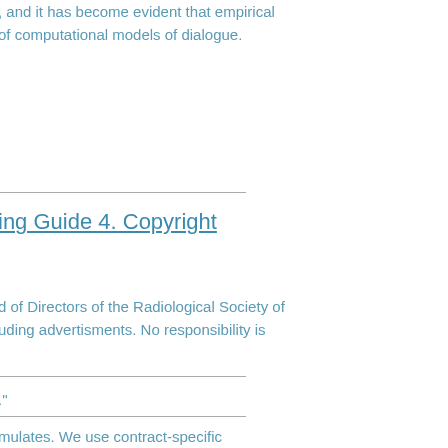, and it has become evident that empirical of computational models of dialogue.
ing Guide 4. Copyright
d of Directors of the Radiological Society of uding advertisments. No responsibility is
."
mulates. We use contract-specific